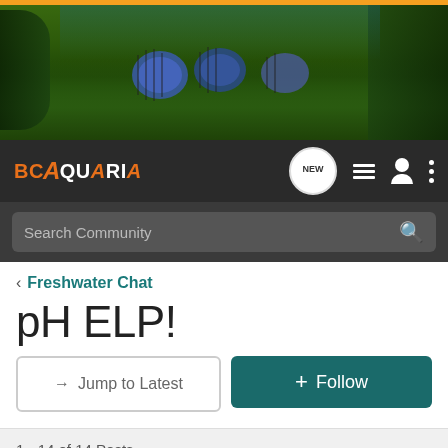[Figure (photo): Aquarium banner photo with colorful discus fish and green aquatic plants]
BC AQUARIA — navigation bar with NEW, list, user, and menu icons
Search Community
< Freshwater Chat
pH ELP!
→ Jump to Latest
+ Follow
1 - 14 of 14 Posts
agresfish · Registered
Joined Mar 2, 2011 · 159 Posts